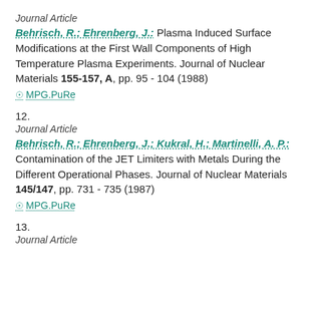Journal Article
Behrisch, R.; Ehrenberg, J.: Plasma Induced Surface Modifications at the First Wall Components of High Temperature Plasma Experiments. Journal of Nuclear Materials 155-157, A, pp. 95 - 104 (1988)
MPG.PuRe
12.
Journal Article
Behrisch, R.; Ehrenberg, J.; Kukral, H.; Martinelli, A. P.: Contamination of the JET Limiters with Metals During the Different Operational Phases. Journal of Nuclear Materials 145/147, pp. 731 - 735 (1987)
MPG.PuRe
13.
Journal Article